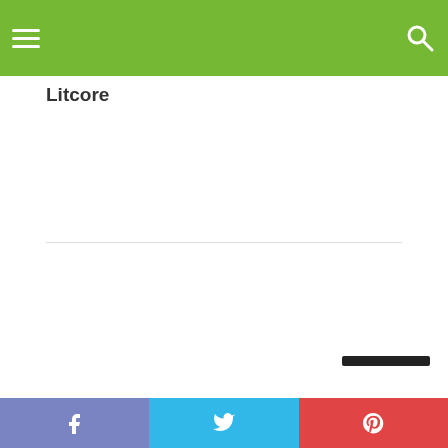Litcore — navigation bar with hamburger menu and search icon
Litcore
Social share bar: Facebook, Twitter, Pinterest